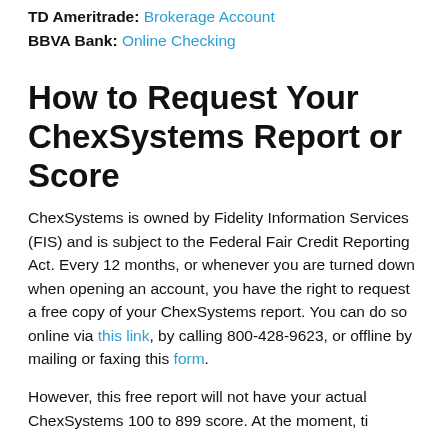TD Ameritrade: Brokerage Account
BBVA Bank: Online Checking
How to Request Your ChexSystems Report or Score
ChexSystems is owned by Fidelity Information Services (FIS) and is subject to the Federal Fair Credit Reporting Act. Every 12 months, or whenever you are turned down when opening an account, you have the right to request a free copy of your ChexSystems report. You can do so online via this link, by calling 800-428-9623, or offline by mailing or faxing this form.
However, this free report will not have your actual ChexSystems 100 to 899 score. At the moment, this